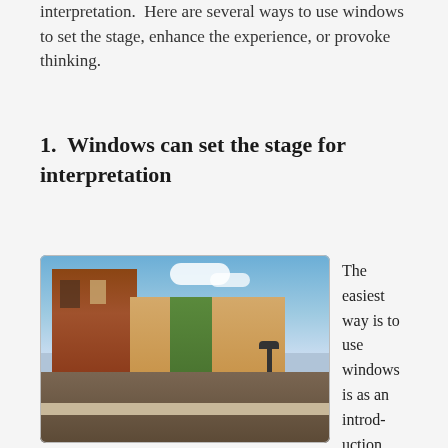interpretation.  Here are several ways to use windows to set the stage, enhance the experience, or provoke thinking.
1.  Windows can set the stage for interpretation
[Figure (photo): Exterior photograph of a brick museum building with a blue sky, featuring a large colorful mural/window display at the entrance, a lamppost, and a brick plaza in the foreground.]
The easiest way is to use windows is as an introduction